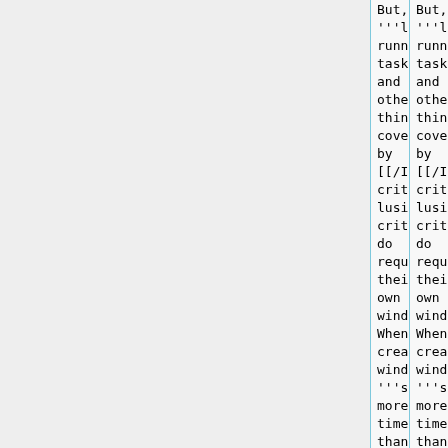But, '''long running tasks''' and others things covered by [[/Inclusion criteria|Inclusion criteria]] do require their own windows. When creating windows, '''schedule more time''' than you
But, '''long running tasks''' and others things covered by [[/Inclusion criteria|Inclusion criteria]] do require their own windows. When creating windows, '''schedule more time''' than you